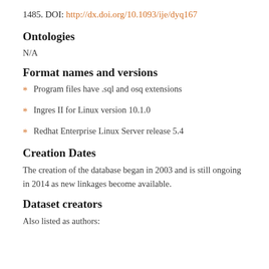1485. DOI: http://dx.doi.org/10.1093/ije/dyq167
Ontologies
N/A
Format names and versions
Program files have .sql and osq extensions
Ingres II for Linux version 10.1.0
Redhat Enterprise Linux Server release 5.4
Creation Dates
The creation of the database began in 2003 and is still ongoing in 2014 as new linkages become available.
Dataset creators
Also listed as authors: